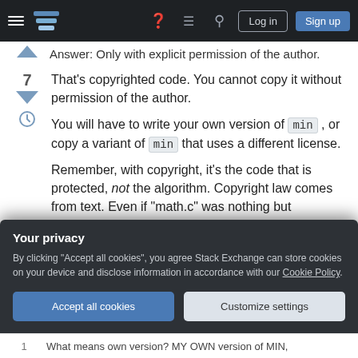Stack Exchange navigation bar with hamburger menu, logo, help, chat, search icons, Log in and Sign up buttons
Answer: Only with explicit permission of the author.
That's copyrighted code. You cannot copy it without permission of the author.

You will have to write your own version of min , or copy a variant of min that uses a different license.

Remember, with copyright, it's the code that is protected, not the algorithm. Copyright law comes from text. Even if "math.c" was nothing but comments and had no executable code at all, it'd
Your privacy

By clicking "Accept all cookies", you agree Stack Exchange can store cookies on your device and disclose information in accordance with our Cookie Policy.

Accept all cookies    Customize settings
What means own version? MY OWN version of MIN,